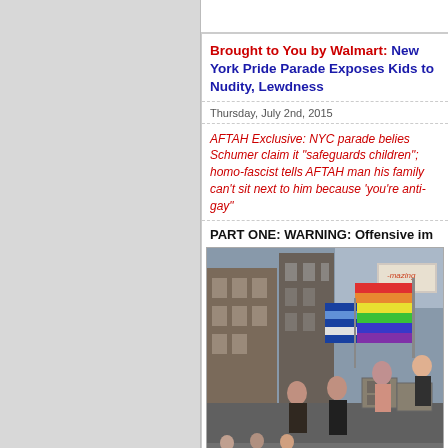Brought to You by Walmart: New York Pride Parade Exposes Kids to Nudity, Lewdness
Thursday, July 2nd, 2015
AFTAH Exclusive: NYC parade belies Schumer claim it "safeguards children"; homo-fascist tells AFTAH man his family can't sit next to him because 'you're anti-gay'
PART ONE: WARNING: Offensive images
[Figure (photo): Outdoor parade scene showing people on a float with rainbow pride flags and other flags, buildings in background]